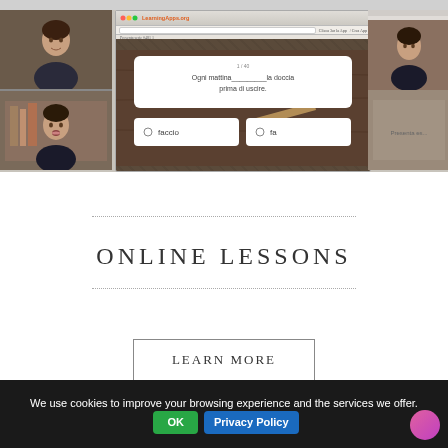[Figure (screenshot): Screenshot of a video conference session showing LearningApps.org website with an Italian language exercise. The main browser window displays a fill-in-the-blank exercise with 'Ogni mattina________la doccia prima di uscire.' and two answer options: 'faccio' and 'fa'. Two video thumbnail panels on the left show a person (teacher/student), and a partial browser window is visible on the right.]
ONLINE LESSONS
LEARN MORE
We use cookies to improve your browsing experience and the services we offer.